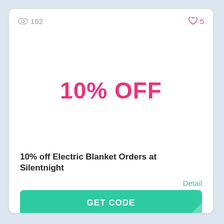102 views  ♥ 5
10% OFF
10% off Electric Blanket Orders at Silentnight
Detail
GET CODE
Expire At: Soon